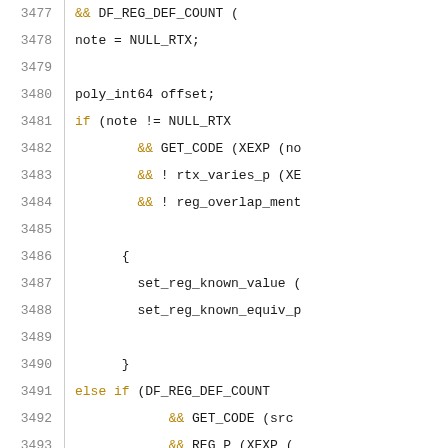Source code listing, lines 3477-3498, C/C++ compiler code (GCC RTL processing)